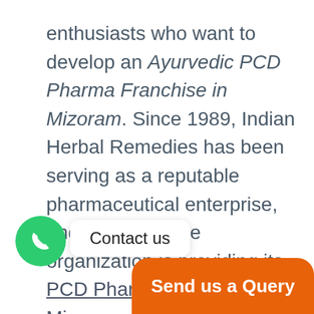enthusiasts who want to develop an Ayurvedic PCD Pharma Franchise in Mizoram. Since 1989, Indian Herbal Remedies has been serving as a reputable pharmaceutical enterprise, and presently, the organization is providing its PCD Pharma Franchise in Mizoram along with various advantages that will be discussed in the present blog. Moreover, it is an ideal time for putting resources into this business opportunity as the interest for [text cut off] has been expanding dramatically throug[text cut off]